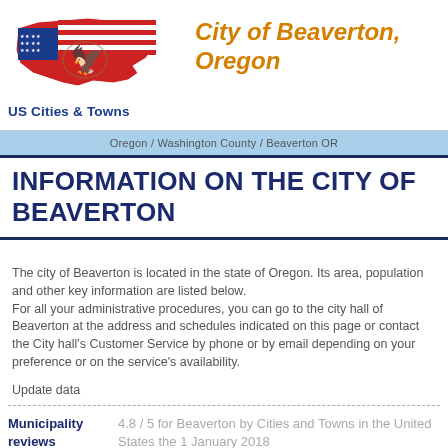[Figure (logo): US Cities and Towns logo with American flag map and bald eagle]
City of Beaverton, Oregon
Oregon / Washington County / Beaverton OR
INFORMATION ON THE CITY OF BEAVERTON
The city of Beaverton is located in the state of Oregon. Its area, population and other key information are listed below.
For all your administrative procedures, you can go to the city hall of Beaverton at the address and schedules indicated on this page or contact the City hall's Customer Service by phone or by email depending on your preference or on the service's availability.

Update data
Municipality reviews	4.8 / 5 for Beaverton by Cities and Towns in the United States the 1 January 2018